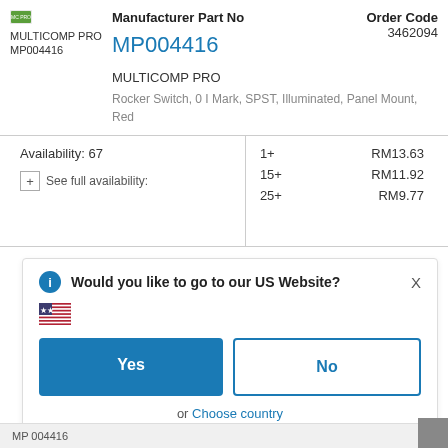[Figure (logo): MULTICOMP PRO logo with text MP004416]
Manufacturer Part No
Order Code
3462094
MP004416
MULTICOMP PRO
Rocker Switch, 0 I Mark, SPST, Illuminated, Panel Mount, Red
|  | Qty | Price |
| --- | --- | --- |
| Availability: 67 | 1+ | RM13.63 |
| See full availability: | 15+ | RM11.92 |
|  | 25+ | RM9.77 |
Would you like to go to our US Website?
Yes
No
or  Choose country
Remember this choice and automatically redirect me in the future
MP 004416